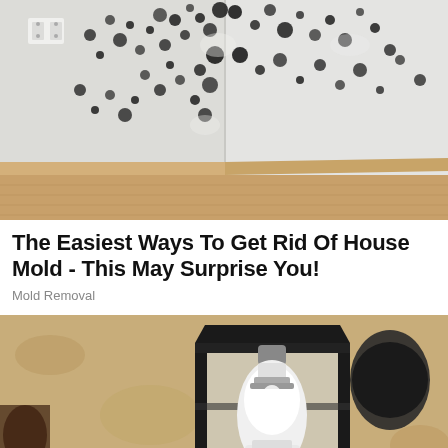[Figure (photo): Photograph of a room corner with black mold covering white walls, wooden baseboard, and laminate floor. Two electrical outlets visible in the upper left.]
The Easiest Ways To Get Rid Of House Mold - This May Surprise You!
Mold Removal
[Figure (photo): Close-up photograph of a black iron outdoor lantern wall sconce with a white LED bulb inside, mounted on a textured beige stucco wall. A milk bottle is partially visible.]